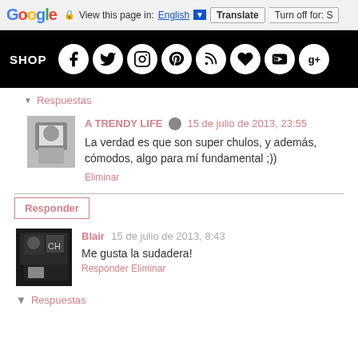Google  View this page in: English [▼]  Translate  Turn off for: S
[Figure (screenshot): Black navigation bar with SHOP text and social media icons: Facebook, Twitter, Instagram, Pinterest, RSS, Heart, YouTube, Google+]
▼ Respuestas
[Figure (photo): Black and white profile photo of a woman]
A TRENDY LIFE  ✏  15 de julio de 2013, 23:55
La verdad es que son super chulos, y además, cómodos, algo para mí fundamental ;))
Eliminar
Responder
[Figure (photo): Dark profile photo with Chanel-branded items]
Blair  15 de julio de 2013, 8:43
Me gusta la sudadera!
Responder  Eliminar
▼ Respuestas